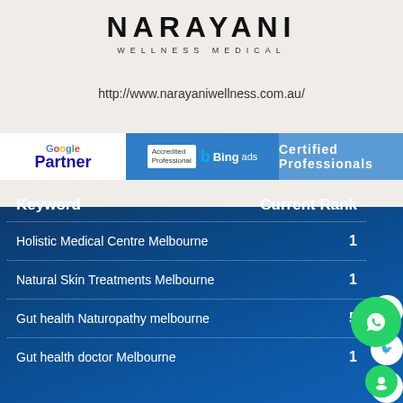[Figure (logo): NARAYANI WELLNESS MEDICAL logo in bold black letters on light background]
http://www.narayaniwellness.com.au/
[Figure (infographic): Google Partner badge, Bing Ads Accredited Professional badge, and Certified Professionals banner]
| Keyword | Current Rank |
| --- | --- |
| Holistic Medical Centre Melbourne | 1 |
| Natural Skin Treatments Melbourne | 1 |
| Gut health Naturopathy melbourne | 5 |
| Gut health doctor Melbourne | 1 |